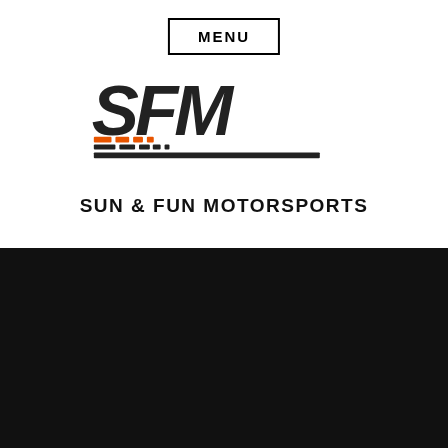MENU
[Figure (logo): SFM - Sun & Fun Motorsports logo with stylized bold SFM letters and orange/black speed-lines underline]
SUN & FUN MOTORSPORTS
Home › Model Details
2022 Honda CRF450RL
Red • New Motorcycles
MSRP $9,999